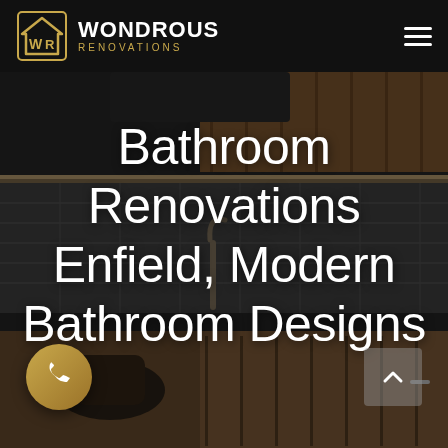[Figure (screenshot): Hero background image of a modern dark kitchen/bathroom interior with wood cabinets, pendant lamp, and subway tile backsplash]
WONDROUS RENOVATIONS
Bathroom Renovations Enfield, Modern Bathroom Designs